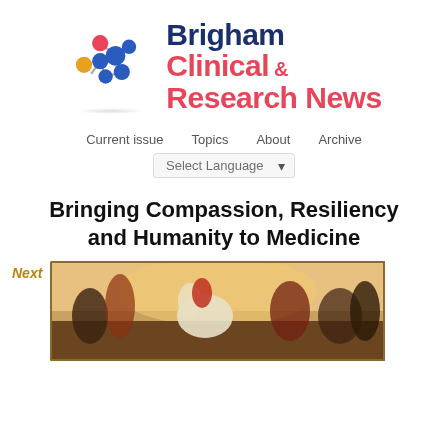[Figure (logo): Brigham Clinical & Research News logo with molecule/network graphic on the left and bold text on the right]
Current issue   Topics   About   Archive
Select Language ▾
Bringing Compassion, Resiliency and Humanity to Medicine
Next
[Figure (photo): A framed painting depicting a colorful historical or mythological scene with figures on horseback, displayed on a wall]